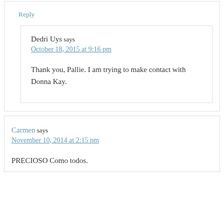Reply
Dedri Uys says
October 18, 2015 at 9:16 pm
Thank you, Pallie. I am trying to make contact with Donna Kay.
Carmen says
November 10, 2014 at 2:15 pm
PRECIOSO Como todos.